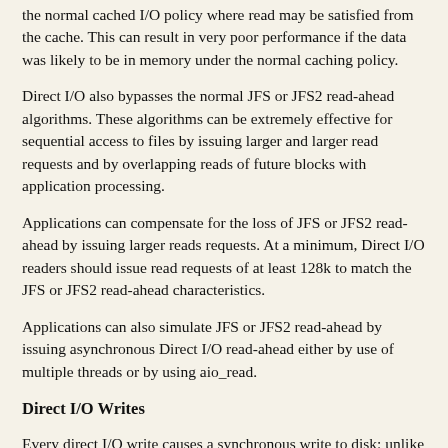the normal cached I/O policy where read may be satisfied from the cache. This can result in very poor performance if the data was likely to be in memory under the normal caching policy.
Direct I/O also bypasses the normal JFS or JFS2 read-ahead algorithms. These algorithms can be extremely effective for sequential access to files by issuing larger and larger read requests and by overlapping reads of future blocks with application processing.
Applications can compensate for the loss of JFS or JFS2 read-ahead by issuing larger reads requests. At a minimum, Direct I/O readers should issue read requests of at least 128k to match the JFS or JFS2 read-ahead characteristics.
Applications can also simulate JFS or JFS2 read-ahead by issuing asynchronous Direct I/O read-ahead either by use of multiple threads or by using aio_read.
Direct I/O Writes
Every direct I/O write causes a synchronous write to disk; unlike the normal cached I/O policy where the data is merely copied and then written to disk later. This fundamental difference can cause a significant performance penalty for applications which are